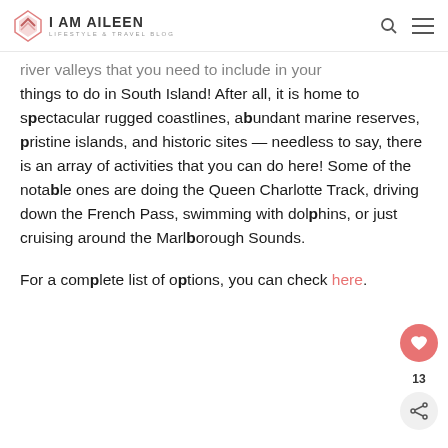i AM AiLEEN — LIFESTYLE & TRAVEL BLOG
river valleys that you need to include in your things to do in South Island! After all, it is home to spectacular rugged coastlines, abundant marine reserves, pristine islands, and historic sites — needless to say, there is an array of activities that you can do here! Some of the notable ones are doing the Queen Charlotte Track, driving down the French Pass, swimming with dolphins, or just cruising around the Marlborough Sounds.
For a complete list of options, you can check here.